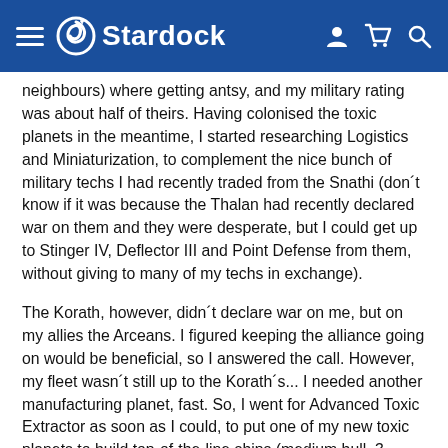Stardock
neighbours) where getting antsy, and my military rating was about half of theirs. Having colonised the toxic planets in the meantime, I started researching Logistics and Miniaturization, to complement the nice bunch of military techs I had recently traded from the Snathi (don´t know if it was because the Thalan had recently declared war on them and they were desperate, but I could get up to Stinger IV, Deflector III and Point Defense from them, without giving to many of my techs in exchange).
The Korath, however, didn´t declare war on me, but on my allies the Arceans. I figured keeping the alliance going on would be beneficial, so I answered the call. However, my fleet wasn´t still up to the Korath´s... I needed another manufacturing planet, fast. So, I went for Advanced Toxic Extractor as soon as I could, to put one of my new toxic planets to build top-of-the-line ships (medium hull, 3 missiles, 2 beams, 2 point defenses, 2 armor, the best I